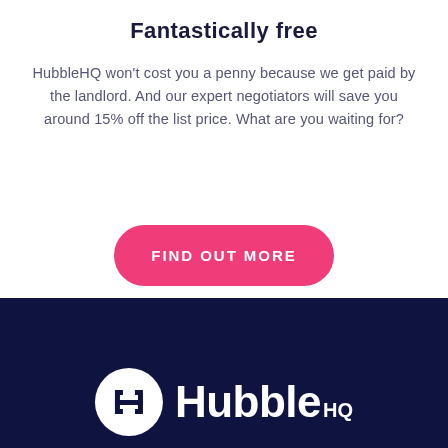Fantastically free
HubbleHQ won't cost you a penny because we get paid by the landlord. And our expert negotiators will save you around 15% off the list price. What are you waiting for?
[Figure (other): Pink rounded rectangle CTA button with white uppercase text 'FIND OUT MORE']
[Figure (logo): HubbleHQ logo on dark navy background: white circle with H icon, followed by white text 'Hubble' with superscript 'HQ']